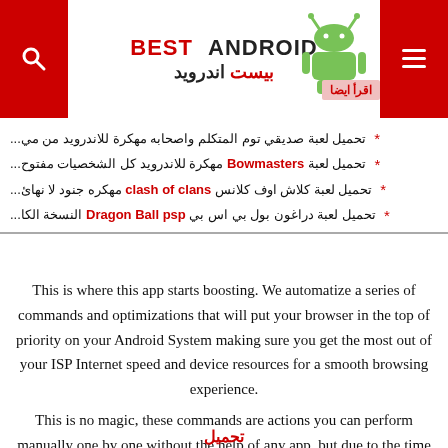BEST ANDROID بيست اندرويد
* تحميل لعبة صديقي توم المتكلم واصحابه مهكرة للاندرويد من مي...
* تحميل لعبة Bowmasters مهكرة للاندرويد كل الشخصيات مفتوح...
* تحميل لعبة كلاش اوف كلانس clash of clans مهكره جنود لا نهائ...
* تحميل لعبة دراغون بول بي اس بي Dragon Ball psp النسخة الكا...
This is where this app starts boosting. We automatize a series of commands and optimizations that will put your browser in the top of priority on your Android System making sure you get the most out of your ISP Internet speed and device resources for a smooth browsing experience.
This is no magic, these commands are actions you can perform manually one by one without the help of any app, but due to the time it'd take and other reasons it could be considered impractical, and this is the reason this app exists!